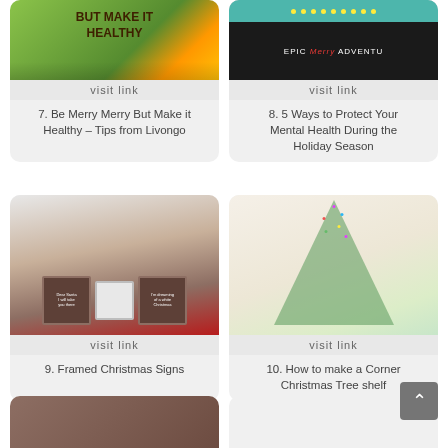[Figure (photo): Be Merry Merry But Make it Healthy – photo of food/vegetables on wooden board, partially cropped at top]
visit link
7. Be Merry Merry But Make it Healthy – Tips from Livongo
[Figure (photo): 5 Ways to Protect Your Mental Health During the Holiday Season – dark themed blog image with teal dots banner and EPIC Merry ADVENTURE text]
visit link
8. 5 Ways to Protect Your Mental Health During the Holiday Season
[Figure (photo): Framed Christmas Signs – photo of Christmas-themed framed signs with small bells on a white table]
visit link
9. Framed Christmas Signs
[Figure (photo): How to make a Corner Christmas Tree shelf – triangular shelf unit decorated as a Christmas tree with lights and ornaments]
visit link
10. How to make a Corner Christmas Tree shelf